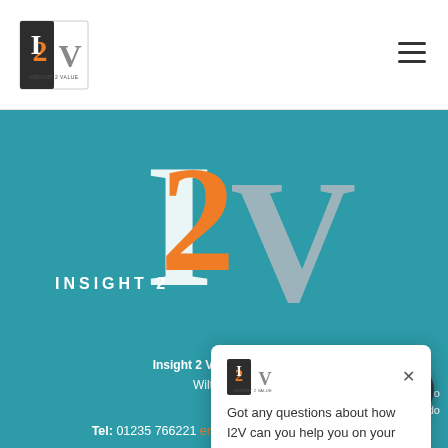[Figure (logo): Insight 2 Value (I2V) company logo in top-left header bar — small version with orange 2 and grey I/V letters]
[Figure (logo): Hamburger/menu icon (three horizontal lines) in top-right corner]
[Figure (logo): Large Insight 2 Value logo on teal background — large teal I, large orange 2, large grey/white V letters with 'INSIGHT 2' text below]
Got any questions about how I2V can you help you on your Automation journey? Drop a message in the chat and one of the team will be in touch.
Insight 2 Value Ltd 5 La... Wilton Dri...
Tel: 01235 766221 enquiries@insight2value.c...
[Figure (illustration): Chat bubble icon button — dark circular button with speech bubble icon, bottom right corner]